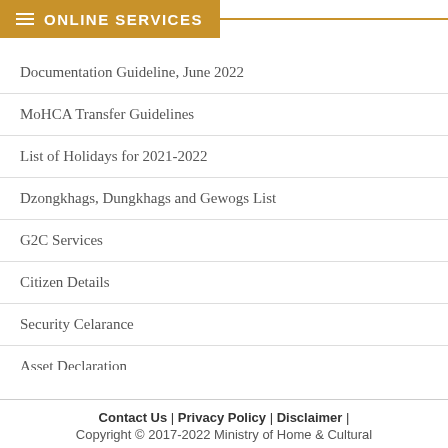ONLINE SERVICES
Documentation Guideline, June 2022
MoHCA Transfer Guidelines
List of Holidays for 2021-2022
Dzongkhags, Dungkhags and Gewogs List
G2C Services
Citizen Details
Security Celarance
Asset Declaration
Contact Us  |  Privacy Policy  |  Disclaimer  |
Copyright © 2017-2022 Ministry of Home & Cultural